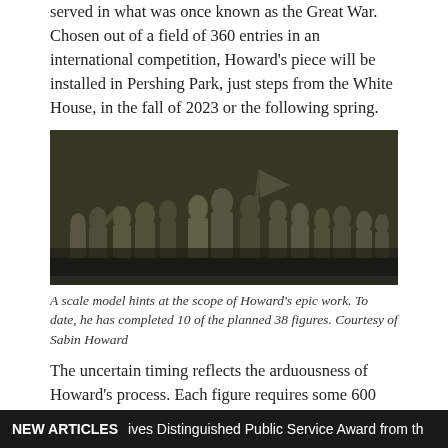served in what was once known as the Great War. Chosen out of a field of 360 entries in an international competition, Howard's piece will be installed in Pershing Park, just steps from the White House, in the fall of 2023 or the following spring.
[Figure (photo): A long horizontal bas-relief sculpture scale model showing many human figures in dynamic poses, some carrying a flag, rendered in dark bronze/grey tones against a dark background.]
A scale model hints at the scope of Howard's epic work. To date, he has completed 10 of the planned 38 figures. Courtesy of Sabin Howard
The uncertain timing reflects the arduousness of Howard's process. Each figure requires some 600 hours of work, meaning Howard can complete only nine or 10 figures in a year, even with two assistant sculptors and a team of models. Considered a master of modern classicism, Howard, 57, creates sculpture that is startlingly realistic. He is, says project manager Traci
NEW ARTICLES  ives Distinguished Public Service Award from th